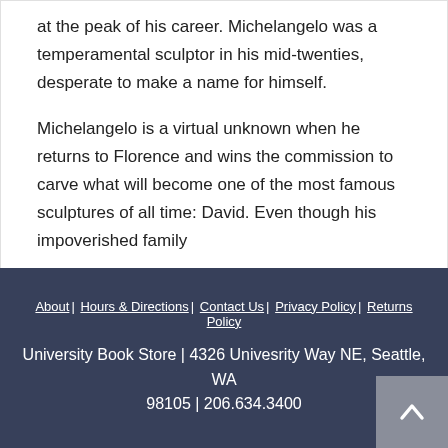at the peak of his career. Michelangelo was a temperamental sculptor in his mid-twenties, desperate to make a name for himself.
Michelangelo is a virtual unknown when he returns to Florence and wins the commission to carve what will become one of the most famous sculptures of all time: David. Even though his impoverished family
About | Hours & Directions | Contact Us | Privacy Policy | Returns Policy
University Book Store | 4326 Univesrity Way NE, Seattle, WA 98105 | 206.634.3400